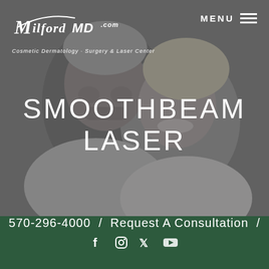[Figure (photo): Hero background showing a middle-aged couple smiling together, with a gray/muted overlay. The man has grey hair and stubble, the woman is blonde. They are close together, smiling warmly.]
MilfordMD.com Cosmetic Dermatology · Surgery & Laser Center
MENU
SMOOTHBEAM LASER
570-296-4000  /  Request A Consultation  /
f  Instagram  Twitter  YouTube